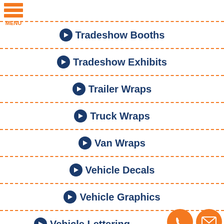Tradeshow Booths
Tradeshow Exhibits
Trailer Wraps
Truck Wraps
Van Wraps
Vehicle Decals
Vehicle Graphics
Vehicle Lettering